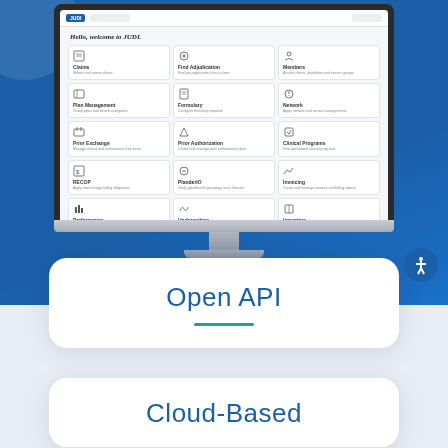[Figure (screenshot): Desktop monitor showing JUDI software interface with a dashboard grid of insurance management modules including Claims, Find Adjudication, Members, Plan Management, Formulary, Network, Prior Exchange, Prior Authorization, Clinical Programs, RECOP, PlanderIO, Invoicing, Performance, Underwriting, Importing]
Open API
Cloud-Based